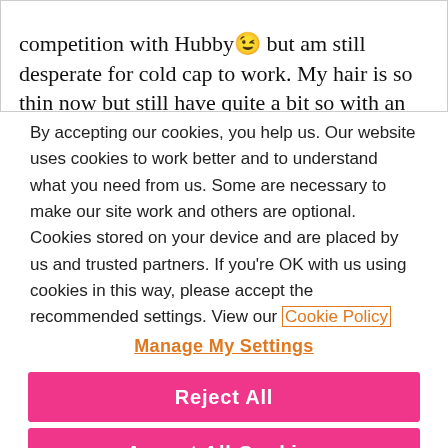competition with Hubby😉 but am still desperate for cold cap to work. My hair is so thin now but still have quite a bit so with an attractive comb over option am going to stick with it until
By accepting our cookies, you help us. Our website uses cookies to work better and to understand what you need from us. Some are necessary to make our site work and others are optional. Cookies stored on your device and are placed by us and trusted partners. If you're OK with us using cookies in this way, please accept the recommended settings. View our Cookie Policy
Manage My Settings
Reject All
Accept All Cookies